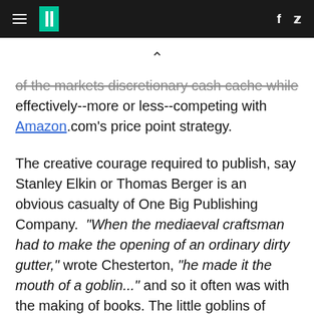HuffPost navigation and social icons header
of the markets discretionary cash cache while effectively--more or less--competing with Amazon.com's price point strategy.
The creative courage required to publish, say Stanley Elkin or Thomas Berger is an obvious casualty of One Big Publishing Company. "When the mediaeval craftsman had to make the opening of an ordinary dirty gutter," wrote Chesterton, "he made it the mouth of a goblin..." and so it often was with the making of books. The little goblins of John Cheever, Pete Dexter, J.F. Powers, et al., were allowed to see daylight